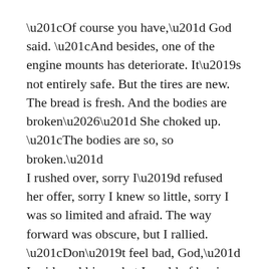“Of course you have,” God said. “And besides, one of the engine mounts has deteriorate. It’s not entirely safe. But the tires are new. The bread is fresh. And the bodies are broken…” She choked up. “The bodies are so, so broken.”
I rushed over, sorry I’d refused her offer, sorry I knew so little, sorry I was so limited and afraid. The way forward was obscure, but I rallied. “Don’t feel bad, God,” I said, grabbing what I could of her in my arms. “I’ll give it a try. There’s a little over half a tank. Maybe we could see where that takes us, okay?”
God looked surprised and nodded. “Nothing is